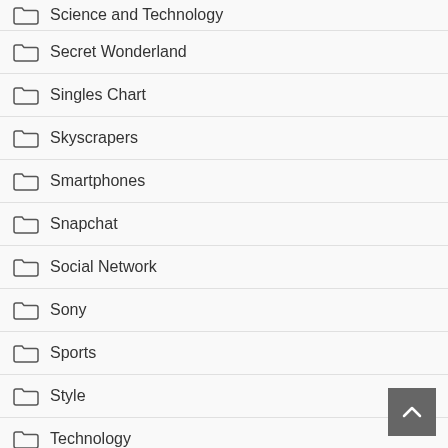Science and Technology
Secret Wonderland
Singles Chart
Skyscrapers
Smartphones
Snapchat
Social Network
Sony
Sports
Style
Technology
Tennis
The Royal Visit
The Saturn Herald
Tokyo Olympics 2020